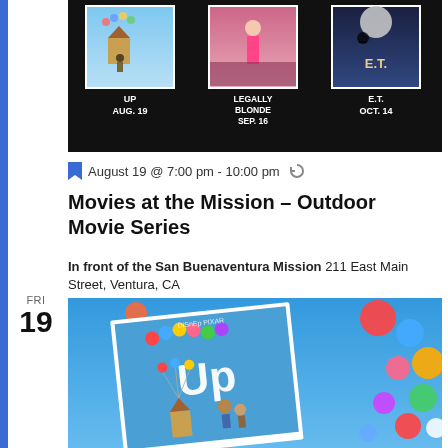[Figure (photo): Dark banner showing three movie posters: UP (Aug. 19), Legally Blonde (Sep. 16), and E.T. (Oct. 14) against a black background]
August 19 @ 7:00 pm - 10:00 pm
Movies at the Mission – Outdoor Movie Series
In front of the San Buenaventura Mission 211 East Main Street, Ventura, CA
[Figure (photo): Disney Pixar UP movie poster surrounded by colorful balloons on blue background]
FRI
19